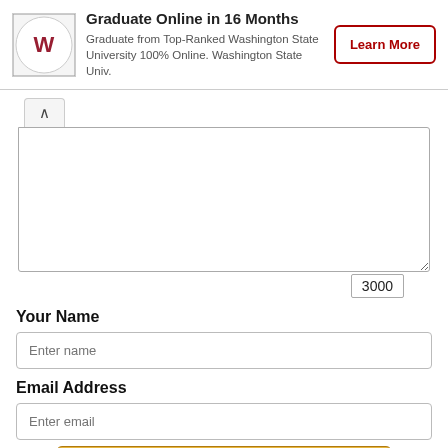[Figure (infographic): Advertisement banner for Washington State University online program with WSU logo, title 'Graduate Online in 16 Months', description text, and 'Learn More' button]
[Figure (screenshot): Web form with a large textarea showing 3000 character count, Your Name input field, Email Address input field, and a 'Post Your Complaint' submit button]